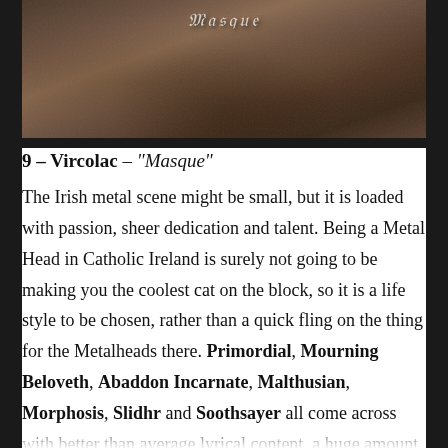[Figure (photo): Dark atmospheric photo of textured organic material (bark, moss, or similar) with gothic calligraphic text 'Masque' overlaid at the top center]
9 – Vircolac – "Masque"
The Irish metal scene might be small, but it is loaded with passion, sheer dedication and talent. Being a Metal Head in Catholic Ireland is surely not going to be making you the coolest cat on the block, so it is a life style to be chosen, rather than a quick fling on the thing for the Metalheads there. Primordial, Mourning Beloveth, Abaddon Incarnate, Malthusian, Morphosis, Slidhr and Soothsayer all come across with better than average lyrical content, a huge amount of barbaric and raw emotion, all bundled up with killer riffs. And now we can add Vircolac to the list too. Even their EP a couple of years back was something one could not deny, but nothing prepared us for the